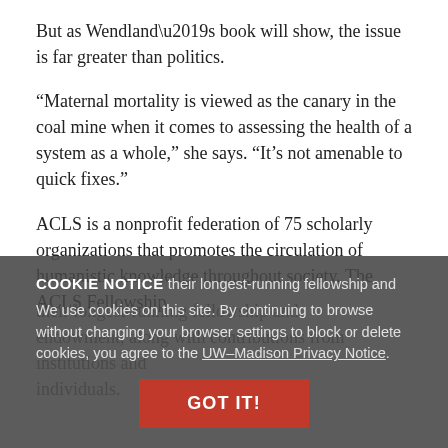But as Wendland’s book will show, the issue is far greater than politics.
“Maternal mortality is viewed as the canary in the coal mine when it comes to assessing the health of a system as a whole,” she says. “It’s not amenable to quick fixes.”
ACLS is a nonprofit federation of 75 scholarly organizations that promotes the circulation of humanistic knowledge throughout society. The ACLS Fellowship their longest-running fellowship and endowment, along with contributions from institutions and individuals.
COOKIE NOTICE We use cookies on this site. By continuing to browse without changing your browser settings to block or delete cookies, you agree to the UW–Madison Privacy Notice.
GOT IT!